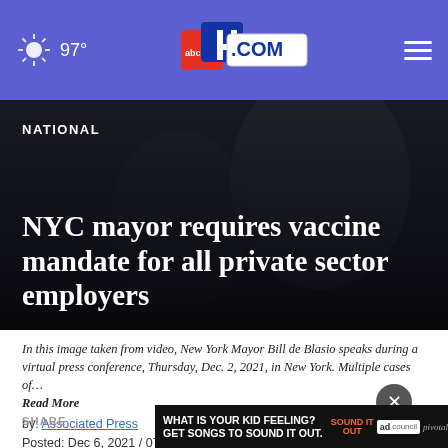97° | abc4.com
NATIONAL
NYC mayor requires vaccine mandate for all private sector employers
In this image taken from video, New York Mayor Bill de Blasio speaks during a virtual press conference, Thursday, Dec. 2, 2021, in New York. Multiple cases of… Read More
by: Associated Press
Posted: Dec 6, 2021 / 07:38 AM MST
Updated: Dec 6, 2021 / 07:38 AM MST
[Figure (screenshot): Advertisement banner: WHAT IS YOUR KID FEELING? GET SONGS TO SOUND IT OUT. Sound It Out. ad council | pivotal]